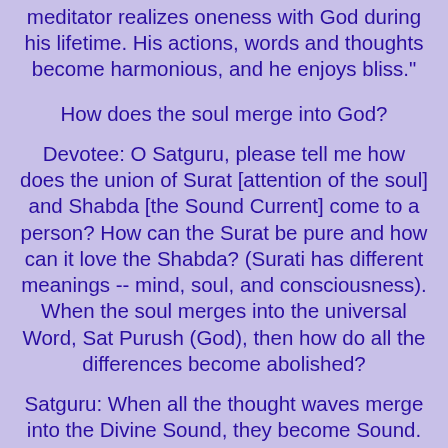meditator realizes oneness with God during his lifetime. His actions, words and thoughts become harmonious, and he enjoys bliss."
How does the soul merge into God?
Devotee: O Satguru, please tell me how does the union of Surat [attention of the soul] and Shabda [the Sound Current] come to a person? How can the Surat be pure and how can it love the Shabda? (Surati has different meanings -- mind, soul, and consciousness). When the soul merges into the universal Word, Sat Purush (God), then how do all the differences become abolished?
Satguru: When all the thought waves merge into the Divine Sound, they become Sound. There are no more thoughts. Only Word remains. The Surat and Shabda cannot then be differentiated. When the Surat unites with Shabda, it is just as when water mixes with milk and become one. Surat gives up its own identity and merges into the Word. Although